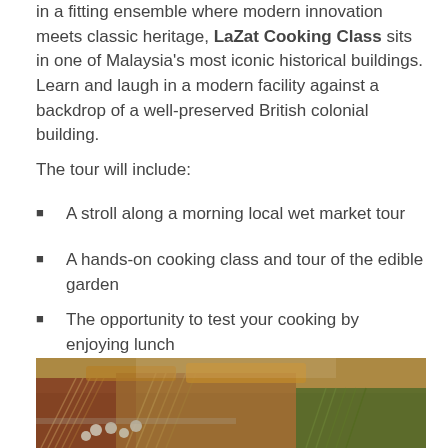in a fitting ensemble where modern innovation meets classic heritage, LaZat Cooking Class sits in one of Malaysia's most iconic historical buildings. Learn and laugh in a modern facility against a backdrop of a well-preserved British colonial building.
The tour will include:
A stroll along a morning local wet market tour
A hands-on cooking class and tour of the edible garden
The opportunity to test your cooking by enjoying lunch
[Figure (photo): A colorful street food market stall with various skewered foods on display, including meat skewers, vegetables, and other items arranged on a grill/stand.]